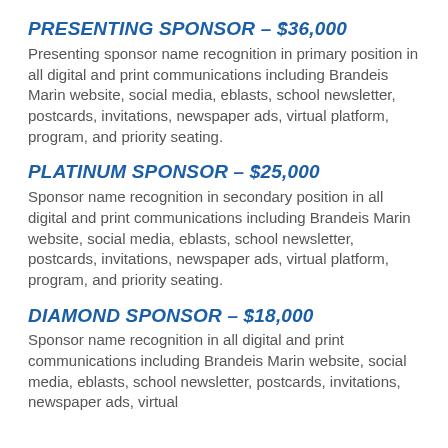PRESENTING SPONSOR – $36,000
Presenting sponsor name recognition in primary position in all digital and print communications including Brandeis Marin website, social media, eblasts, school newsletter, postcards, invitations, newspaper ads, virtual platform, program, and priority seating.
PLATINUM SPONSOR – $25,000
Sponsor name recognition in secondary position in all digital and print communications including Brandeis Marin website, social media, eblasts, school newsletter, postcards, invitations, newspaper ads, virtual platform, program, and priority seating.
DIAMOND SPONSOR – $18,000
Sponsor name recognition in all digital and print communications including Brandeis Marin website, social media, eblasts, school newsletter, postcards, invitations, newspaper ads, virtual